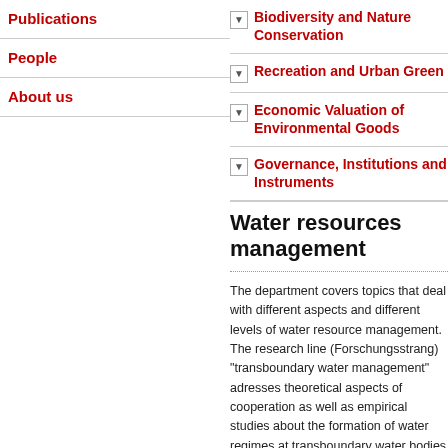Publications
People
About us
Biodiversity and Nature Conservation
Recreation and Urban Green
Economic Valuation of Environmental Goods
Governance, Institutions and Instruments
Water resources management
The department covers topics that deal with different aspects and different levels of water resource management. The research line (Forschungsstrang) "transboundary water management" adresses theoretical aspects of cooperation as well as empirical studies about the formation of water regimes at transboundary water bodies and the effectiveness of river basin authorities. Regionally, the projects relate to Africa...